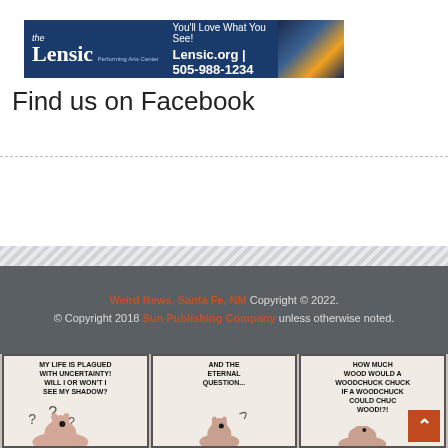[Figure (illustration): The Lensic Performing Arts Center advertisement banner with blue background, logo, tagline 'You'll Love What You See!', contact info 'Lensic.org | 505-988-1234', and building photo]
Find us on Facebook
[Figure (illustration): Three-panel comic strip showing a groundhog/woodchuck. Panel 1: 'MY LIFE IS PLAGUED WITH UNCERTAINTY! WILL I OR WON'T I SEE MY SHADOW?' with question marks. Panel 2: 'AND THE ETERNAL QUESTION...' Panel 3: 'HOW MUCH WOOD WOULD A WOODCHUCK CHUCK IF A WOODCHUCK COULD CHUCK WOOD!?!']
Weird News, Santa Fe, NM Copyright © 2022. © Copyright 2018 Sun Publishing Company unless otherwise noted.